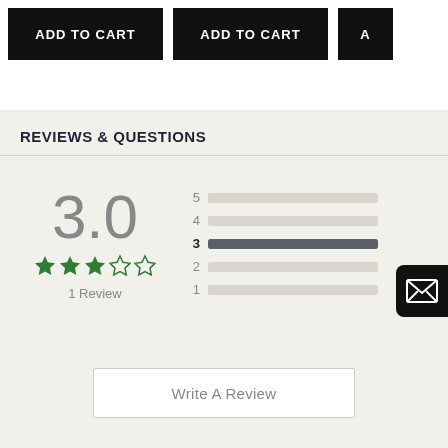[Figure (screenshot): Three ADD TO CART buttons in black across the top of the page]
REVIEWS & QUESTIONS
[Figure (infographic): Rating display showing 3.0 out of 5 stars with 1 Review and a bar chart showing rating distribution, with the bar for rating 3 being fully filled in dark gray and bars for 1, 2, 4, 5 showing light gray empty bars]
Write A Review